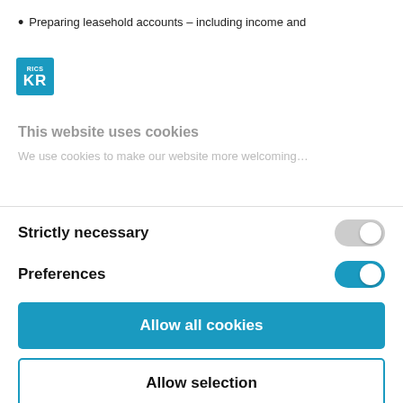Preparing leasehold accounts – including income and
[Figure (logo): KR logo square teal with white KR letters]
This website uses cookies
We use cookies to make our website more welcoming...
Strictly necessary
[Figure (other): Toggle switch OFF (grey) for Strictly necessary]
Preferences
[Figure (other): Toggle switch ON (teal) for Preferences]
Allow all cookies
Allow selection
Powered by Cookiebot by Usercentrics